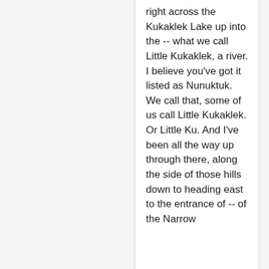right across the Kukaklek Lake up into the -- what we call Little Kukaklek, a river. I believe you've got it listed as Nunuktuk. We call that, some of us call Little Kukaklek. Or Little Ku. And I've been all the way up through there, along the side of those hills down to heading east to the entrance of -- of the Narrow